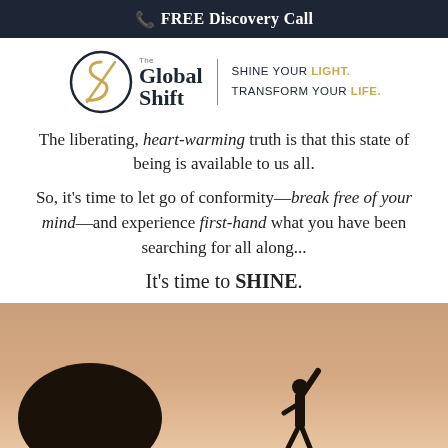FREE Discovery Call
[Figure (logo): The Global Shift logo with circular S emblem and tagline SHINE YOUR LIGHT. TRANSFORM YOUR LIFE.]
The liberating, heart-warming truth is that this state of being is available to us all.
So, it's time to let go of conformity—break free of your mind—and experience first-hand what you have been searching for all along...
It's time to SHINE.
[Figure (photo): Sunset photo with silhouette of a tree on the left and a person with arm raised in triumph on the right, warm orange and pink sky background]